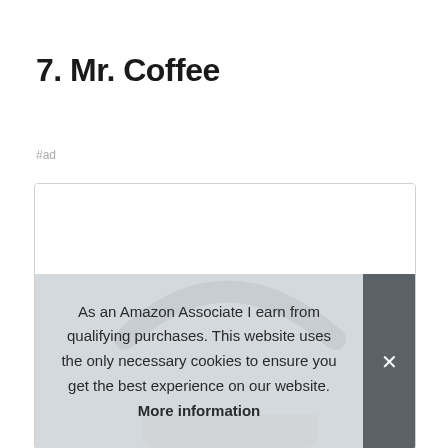7. Mr. Coffee
#ad
[Figure (photo): Partial product photo of a Mr. Coffee coffee maker showing the top handle arc in black and the base/carafe in gold/tan color, inside a white bordered image box.]
As an Amazon Associate I earn from qualifying purchases. This website uses the only necessary cookies to ensure you get the best experience on our website. More information